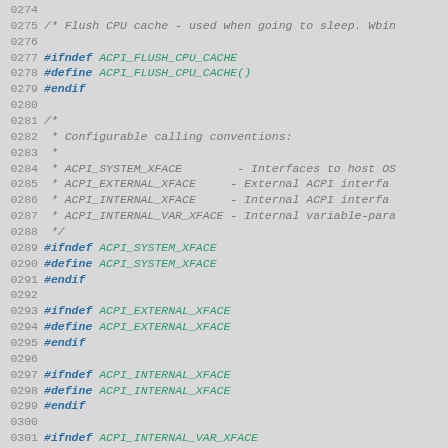Source code listing lines 0274-0303, C preprocessor macros for ACPI CPU cache flush and calling convention interfaces.